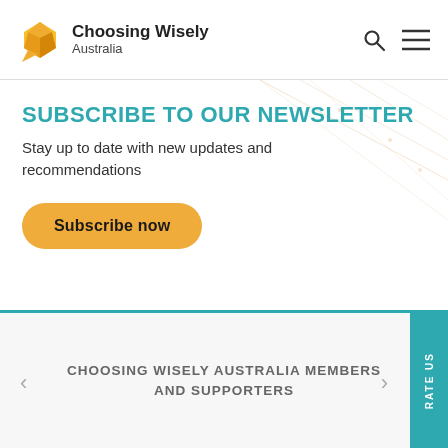Choosing Wisely Australia
SUBSCRIBE TO OUR NEWSLETTER
Stay up to date with new updates and recommendations
Subscribe now
CHOOSING WISELY AUSTRALIA MEMBERS AND SUPPORTERS